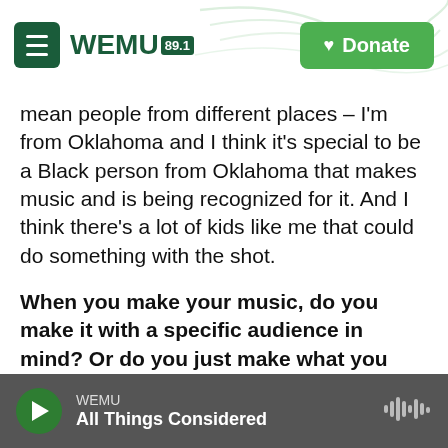WEMU 89.1 | Donate
mean people from different places – I'm from Oklahoma and I think it's special to be a Black person from Oklahoma that makes music and is being recognized for it. And I think there's a lot of kids like me that could do something with the shot.
When you make your music, do you make it with a specific audience in mind? Or do you just make what you like?
I just make what I like. The only song I think on this record that I made and was like "I think this is going to be a wild song for people to hear" was probably
WEMU | All Things Considered